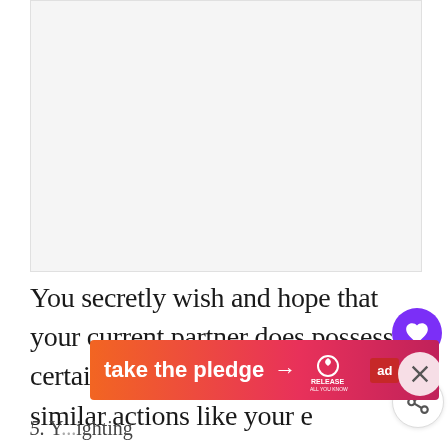[Figure (other): Large light grey placeholder image area at the top of the page]
You secretly wish and hope that your current partner does possess certain traits and does some similar actions like your ex partner.
[Figure (other): Purple circular heart/like button with count 30 and a share button below it on the right side]
[Figure (other): Orange-pink gradient advertisement banner reading 'take the pledge' with arrow, Release and Ed logos]
5. Y...ighting